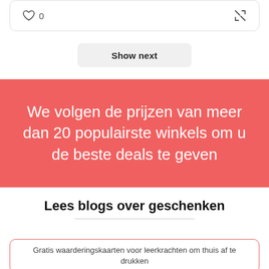[Figure (screenshot): Top card with heart icon showing '0' likes and a shuffle/expand icon on the right]
Show next
We volgen de prijzen van meer dan 20 populairste winkels om u de beste deals te geven
Lees blogs over geschenken
Gratis waarderingskaarten voor leerkrachten om thuis af te drukken